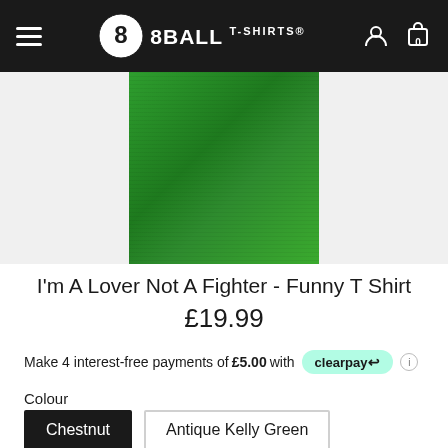8BALL T-SHIRTS
[Figure (photo): Green t-shirt product photo on white background, cropped showing torso/body of garment]
I'm A Lover Not A Fighter - Funny T Shirt
£19.99
Make 4 interest-free payments of £5.00 with clearpay
Colour
Chestnut | Antique Kelly Green